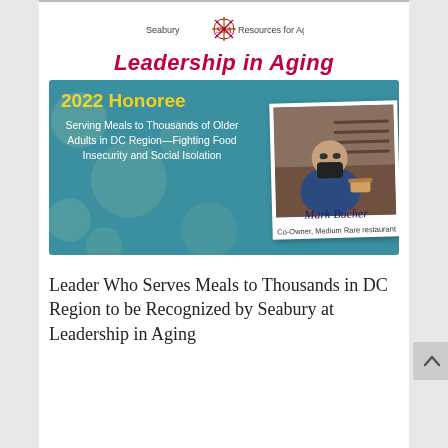[Figure (infographic): Seabury Resources for Aging logo with decorative emblem and organization name]
Leadership in Aging
[Figure (infographic): 2022 Honoree banner on teal background with decorative circles. Left side: '2022 Honoree' in yellow bold text, body text 'Serving Meals to Thousands of Older Adults in DC Region—Fighting Food Insecurity and Social Isolation'. Right side: Polaroid-style photo of Mark Bucher wearing mask and blue jacket, with handwritten-style caption 'Mark Bucher, Co-Owner, Medium Rare restaurant']
Leader Who Serves Meals to Thousands in DC Region to be Recognized by Seabury at Leadership in Aging